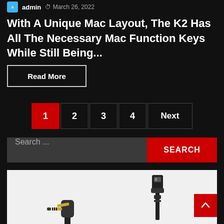admin  March 26, 2022
With A Unique Mac Layout, The K2 Has All The Necessary Mac Function Keys While Still Being...
Read More
1  2  3  4  Next
Search ...  SEARCH
[Figure (photo): Close-up photo of audio/USB cables: a 3.5mm angled audio jack connector (gold-tipped) and a USB connector on a white background]